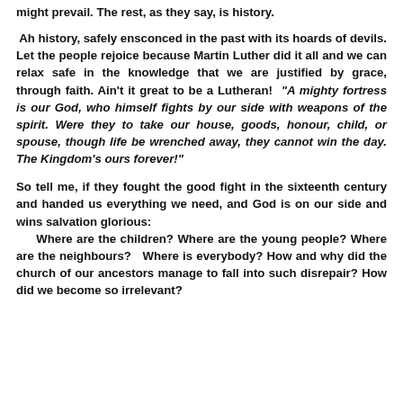might prevail. The rest, as they say, is history.
Ah history, safely ensconced in the past with its hoards of devils. Let the people rejoice because Martin Luther did it all and we can relax safe in the knowledge that we are justified by grace, through faith. Ain't it great to be a Lutheran! “A mighty fortress is our God, who himself fights by our side with weapons of the spirit. Were they to take our house, goods, honour, child, or spouse, though life be wrenched away, they cannot win the day. The Kingdom’s ours forever!”
So tell me, if they fought the good fight in the sixteenth century and handed us everything we need, and God is on our side and wins salvation glorious: Where are the children? Where are the young people? Where are the neighbours? Where is everybody? How and why did the church of our ancestors manage to fall into such disrepair? How did we become so irrelevant?